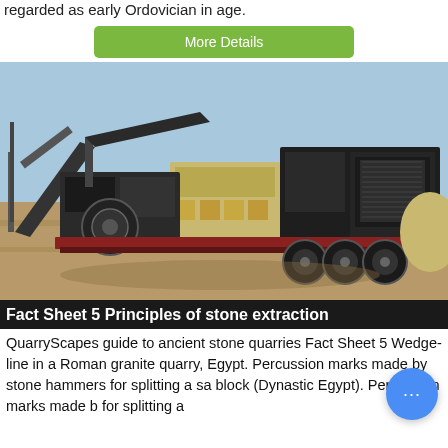regarded as early Ordovician in age.
More Details
[Figure (photo): A large mobile stone crusher / quarry machine on a trailer, photographed outdoors on a sandy/dirt site under a blue sky.]
Fact Sheet 5 Principles of stone extraction
QuarryScapes guide to ancient stone quarries Fact Sheet 5 Wedge-line in a Roman granite quarry, Egypt. Percussion marks made by stone hammers for splitting a sa block (Dynastic Egypt). Percussion marks made b for splitting a